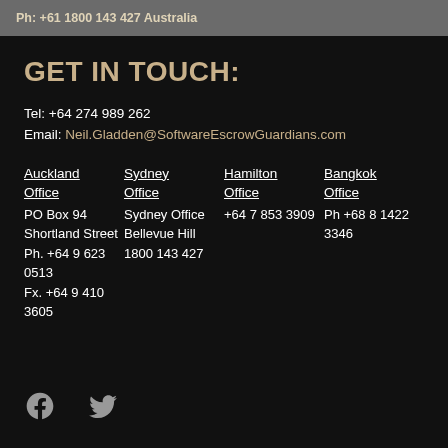Ph:  +61 1800 143 427 Australia
GET IN TOUCH:
Tel: +64 274 989 262
Email: Neil.Gladden@SoftwareEscrowGuardians.com
Auckland Office
PO Box 94
Shortland Street
Ph. +64 9 623 0513
Fx.  +64 9 410 3605
Sydney Office
Sydney Office Bellevue Hill
1800 143 427
Hamilton Office
+64 7 853 3909
Bangkok Office
Ph +68 8 1422 3346
[Figure (illustration): Facebook and Twitter social media icons in grey]